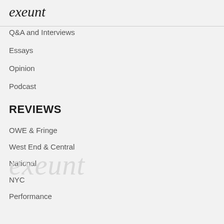exeunt
Q&A and Interviews
Essays
Opinion
Podcast
REVIEWS
OWE & Fringe
West End & Central
National
NYC
Performance
[Figure (logo): Exeunt watermark logo in light gray script]
About Exeunt
Staff & Contributors
Contact Us
Subscribe